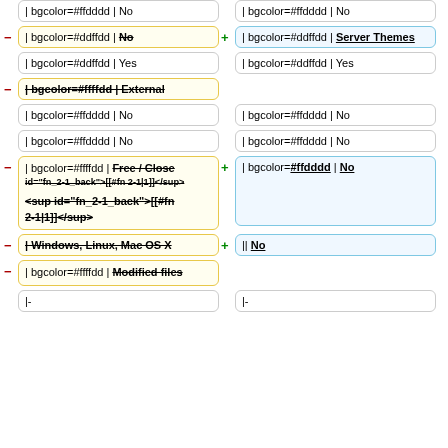| bgcolor=#ffdddd | No (left top)
| bgcolor=#ffdddd | No (right top)
| bgcolor=#ddffdd | No (left, strikethrough, yellow box, minus)
| bgcolor=#ddffdd | Server Themes (right, blue box, plus)
| bgcolor=#ddffdd | Yes (left)
| bgcolor=#ddffdd | Yes (right)
| bgcolor=#ffffdd | External (left, strikethrough, yellow box, minus)
| bgcolor=#ffdddd | No (left)
| bgcolor=#ffdddd | No (right)
| bgcolor=#ffdddd | No (left)
| bgcolor=#ffdddd | No (right)
| bgcolor=#ffffdd | Free / Close <sup id="fn_2-1_back">[[#fn 2-1|1]]</sup> (left, strikethrough, yellow box, minus)
| bgcolor=#ffdddd | No (right, blue box, plus)
| Windows, Linux, Mac OS X (left, strikethrough, yellow box, minus)
|| No (right, blue box, plus)
| bgcolor=#ffffdd | Modified files (left, strikethrough, yellow, minus)
|- (left bottom)
|- (right bottom)